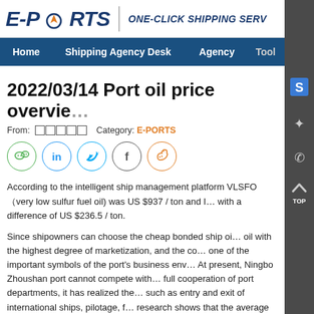E-PORTS | ONE-CLICK SHIPPING SERV...
Home   Shipping Agency Desk   Agency   Tool...
2022/03/14 Port oil price overvie...
From: ☐☐☐☐☐   Category: E-PORTS
According to the intelligent ship management platform VLSFO（very low sulfur fuel oil) was US $937 / ton and I... with a difference of US $236.5 / ton.
Since shipowners can choose the cheap bonded ship oi... oil with the highest degree of marketization, and the co... one of the important symbols of the port's business env... At present, Ningbo Zhoushan port cannot compete with... full cooperation of port departments, it has realized the... such as entry and exit of international ships, pilotage, f... research shows that the average anchoring time of inte...